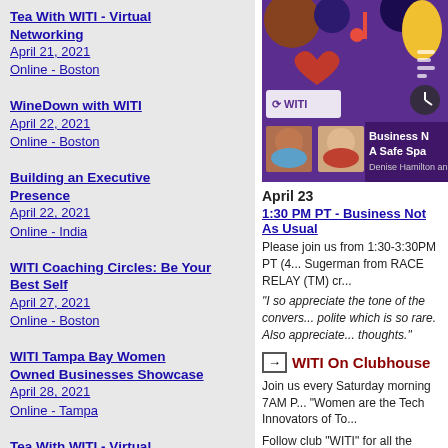Tea With WITI - Virtual Networking
April 21, 2021
Online - Boston
WineDown with WITI
April 22, 2021
Online - Boston
Building an Executive Presence
April 22, 2021
Online - India
WITI Coaching Circles: Be Your Best Self
April 27, 2021
Online - Boston
WITI Tampa Bay Women Owned Businesses Showcase
April 28, 2021
Online - Tampa
Tea With WITI - Virtual Networking
April 28, 2021
Online - Boston
WineDown with WITI
April 29, 2021
[Figure (illustration): Colorful WITI event promotional image with abstract figures, WITI logo, and two speaker portrait photos. Text: Business N... A Safe Spa... Denise Hamilton an...]
April 23
1:30 PM PT - Business Not As Usual
Please join us from 1:30-3:30PM PT (4... Sugerman from RACE RELAY (TM) cr...
"I so appreciate the tone of the convers... polite which is so rare. Also appreciate... thoughts."
WITI On Clubhouse
Join us every Saturday morning 7AM P... "Women are the Tech Innovators of To...
Follow club "WITI" for all the upcoming... discussions and notifications.